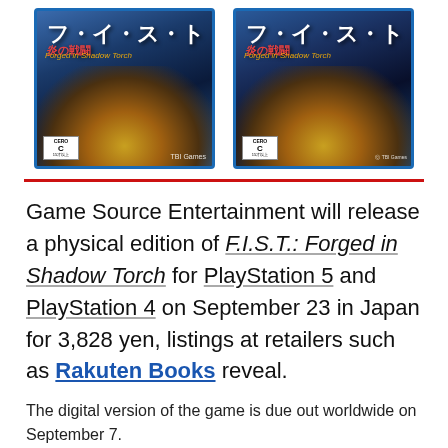[Figure (photo): Two PlayStation game covers for F.I.S.T.: Forged in Shadow Torch, showing a robotic character against a blue background with Japanese text.]
Game Source Entertainment will release a physical edition of F.I.S.T.: Forged in Shadow Torch for PlayStation 5 and PlayStation 4 on September 23 in Japan for 3,828 yen, listings at retailers such as Rakuten Books reveal.
The digital version of the game is due out worldwide on September 7.
Game Source Entertainment will also publish a physical edition of the game in Asia on September 10. Pre-orders are currently available at Play-Asia (PlayStation 5, PlayStation 4).